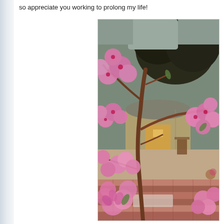so appreciate you working to prolong my life!
[Figure (photo): Outdoor photo taken through blooming pink cherry/peach blossom branches in the foreground. In the background is a small building or barn structure with warm interior lighting, a large dark tree, and a brick or stone border/planter in the lower portion of the frame. The flowers are vivid pink against a muted outdoor scene.]